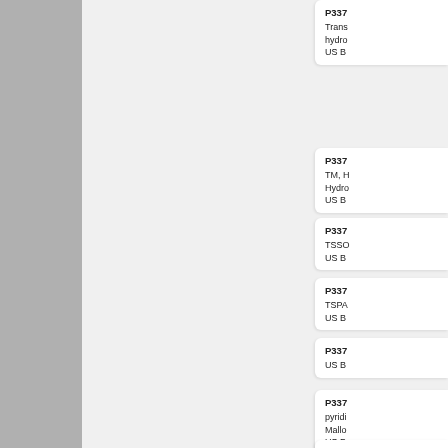P337... Trans... hydro... US B
P337... TM, H Hydro... US B
P337... TSSO US B
P337... TSPA US B
P337... US B
P337... pyridi Mallo... US B
P338...